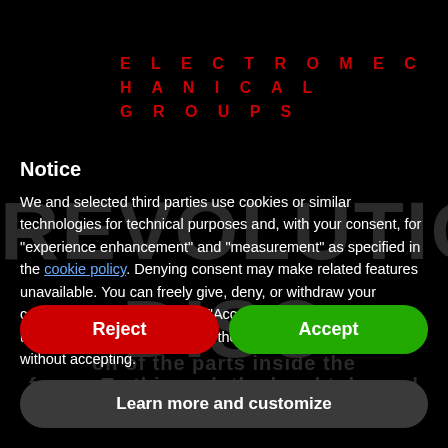ELECTROMECHANICAL GROUPS
Notice
We and selected third parties use cookies or similar technologies for technical purposes and, with your consent, for “experience enhancement” and “measurement” as specified in the cookie policy. Denying consent may make related features unavailable. You can freely give, deny, or withdraw your consent at any time. Use the “Accept” button to consent to the use of such technologies. Use the “Reject” button to continue without accepting.
Reject
Accept
Learn more and customize